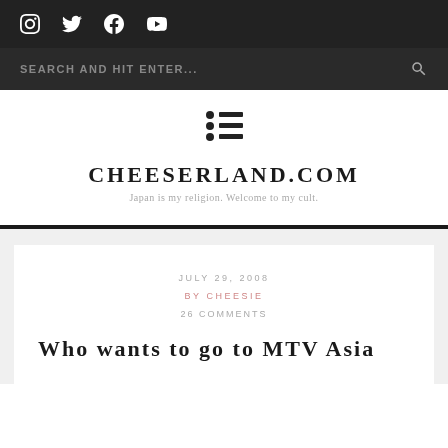[Figure (other): Social media icons: Instagram, Twitter, Facebook, YouTube on dark background]
SEARCH AND HIT ENTER...
[Figure (other): Hamburger/list menu icon with three rows of dot and line]
CHEESERLAND.COM
Japan is my religion. Welcome to my cult.
JULY 29, 2008
BY CHEESIE
26 COMMENTS
Who wants to go to MTV Asia